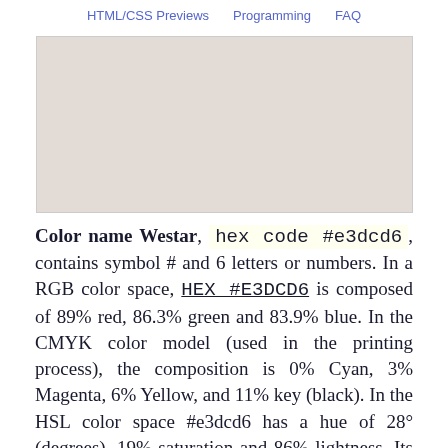HTML/CSS Previews   Programming   FAQ
[Figure (other): A solid color swatch rectangle filled with the color Westar (#e3dcd6), a light beige/grayish-pink tone.]
Color name Westar, hex code #e3dcd6, contains symbol # and 6 letters or numbers. In a RGB color space, HEX #E3DCD6 is composed of 89% red, 86.3% green and 83.9% blue. In the CMYK color model (used in the printing process), the composition is 0% Cyan, 3% Magenta, 6% Yellow, and 11% key (black). In the HSL color space #e3dcd6 has a hue of 28° (degrees), 19% saturation and 86% lightness. Its decimal value is 14933206 and the closest web-safe color code to it is #cccccc. A 20% lighter version of the original...